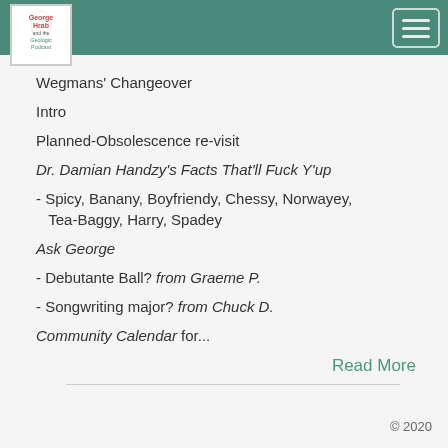George Hrab and the Geologic Podcast
Wegmans' Changeover
Intro
Planned-Obsolescence re-visit
Dr. Damian Handzy's Facts That'll Fuck Y'up
- Spicy, Banany, Boyfriendy, Chessy, Norwayey, Tea-Baggy, Harry, Spadey
Ask George
- Debutante Ball? from Graeme P.
- Songwriting major? from Chuck D.
Community Calendar for...
Read More
© 2020